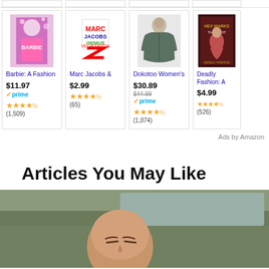[Figure (screenshot): Amazon product ad card row showing 4 products: Barbie A Fashion (movie), Marc Jacobs book, Dokotoo Women's hoodie, Deadly Fashion book]
Ads by Amazon
Articles You May Like
[Figure (photo): Photo of a person in a car, partially visible, taken from inside vehicle]